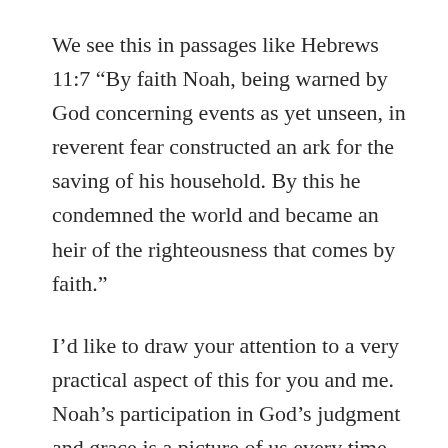We see this in passages like Hebrews 11:7 “By faith Noah, being warned by God concerning events as yet unseen, in reverent fear constructed an ark for the saving of his household. By this he condemned the world and became an heir of the righteousness that comes by faith.”
I’d like to draw your attention to a very practical aspect of this for you and me. Noah’s participation in God’s judgment and grace is a picture of us every time we engage in evangelism. Biblical evangelism always includes participation in the just judgment of God over